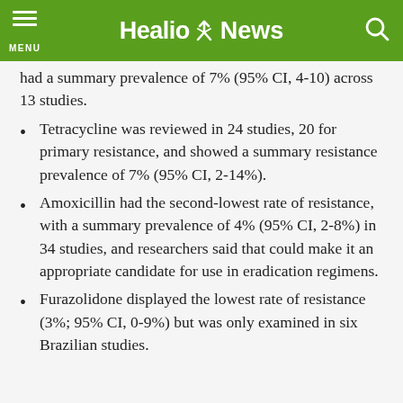Healio News
had a summary prevalence of 7% (95% CI, 4-10) across 13 studies.
Tetracycline was reviewed in 24 studies, 20 for primary resistance, and showed a summary resistance prevalence of 7% (95% CI, 2-14%).
Amoxicillin had the second-lowest rate of resistance, with a summary prevalence of 4% (95% CI, 2-8%) in 34 studies, and researchers said that could make it an appropriate candidate for use in eradication regimens.
Furazolidone displayed the lowest rate of resistance (3%; 95% CI, 0-9%) but was only examined in six Brazilian studies.